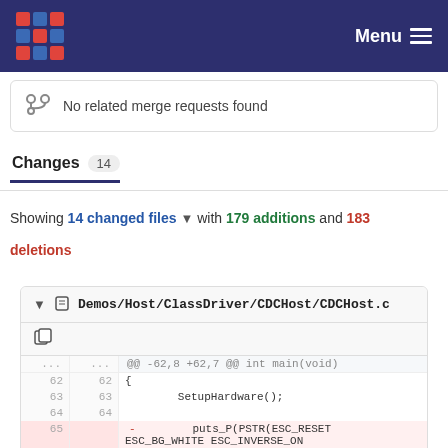Menu
No related merge requests found
Changes 14
Showing 14 changed files with 179 additions and 183 deletions
| old | new | code |
| --- | --- | --- |
| ... | ... | @@ -62,8 +62,7 @@ int main(void) |
| 62 | 62 | { |
| 63 | 63 |         SetupHardware(); |
| 64 | 64 |  |
| 65 |  | -        puts_P(PSTR(ESC_RESET ESC_BG_WHITE ESC_INVERSE_ON ESC_ERASE_DISPLAY |